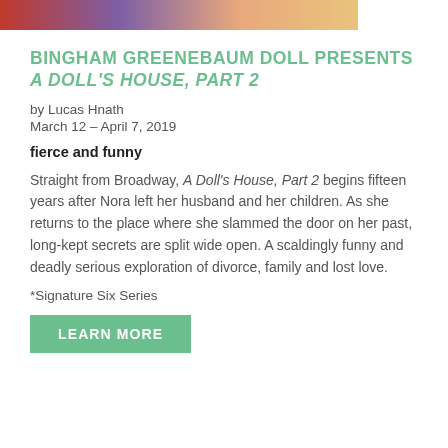[Figure (photo): Partial cropped photo showing colorful painting of faces/figures at top of page]
BINGHAM GREENEBAUM DOLL PRESENTS A DOLL'S HOUSE, PART 2
by Lucas Hnath
March 12 – April 7, 2019
fierce and funny
Straight from Broadway, A Doll's House, Part 2 begins fifteen years after Nora left her husband and her children. As she returns to the place where she slammed the door on her past, long-kept secrets are split wide open. A scaldingly funny and deadly serious exploration of divorce, family and lost love.
*Signature Six Series
LEARN MORE